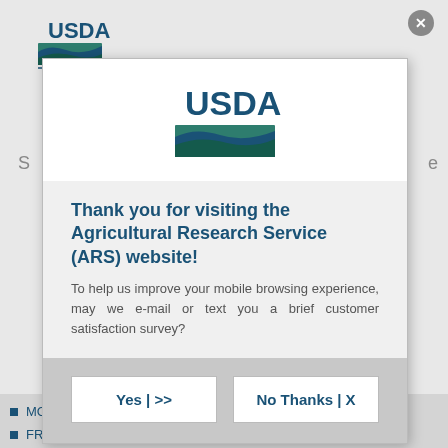[Figure (logo): USDA logo in top left corner of background page]
[Figure (screenshot): Modal dialog popup on USDA ARS website with USDA logo, thank you message, and Yes/No Thanks buttons]
MCGRATH, MEG - Cornell University - New York
FRANCIS, DAVID - The Ohio State University